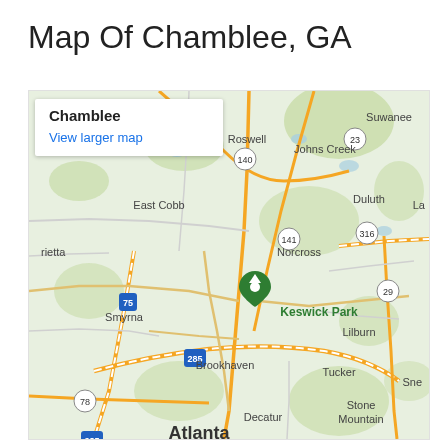Map Of Chamblee, GA
[Figure (map): Google Maps showing Chamblee, GA area with surrounding cities including Suwanee, Johns Creek, Duluth, Norcross, Keswick Park, Lilburn, Tucker, Stone Mountain, Decatur, Atlanta, Brookhaven, Smyrna, East Cobb, Roswell, and Marietta. A green location pin marks Chamblee/Keswick Park area. Route numbers visible: 75, 285, 140, 141, 316, 29, 78, 23. An overlay shows 'Chamblee' and 'View larger map' link.]